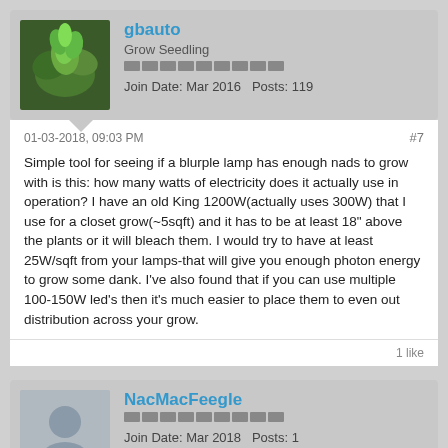gbauto
Grow Seedling
Join Date: Mar 2016   Posts: 119
01-03-2018, 09:03 PM
#7
Simple tool for seeing if a blurple lamp has enough nads to grow with is this: how many watts of electricity does it actually use in operation? I have an old King 1200W(actually uses 300W) that I use for a closet grow(~5sqft) and it has to be at least 18" above the plants or it will bleach them. I would try to have at least 25W/sqft from your lamps-that will give you enough photon energy to grow some dank. I've also found that if you can use multiple 100-150W led's then it's much easier to place them to even out distribution across your grow.
1 like
NacMacFeegle
Join Date: Mar 2018   Posts: 1